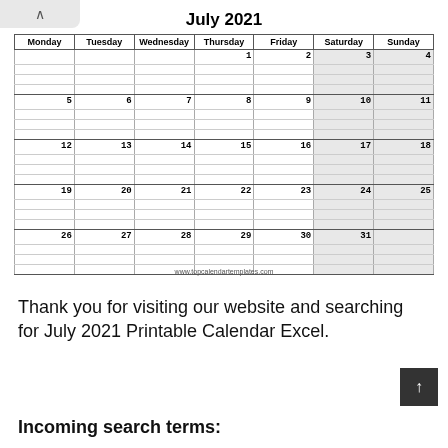July 2021
| Monday | Tuesday | Wednesday | Thursday | Friday | Saturday | Sunday |
| --- | --- | --- | --- | --- | --- | --- |
|  |  |  | 1 | 2 | 3 | 4 |
| 5 | 6 | 7 | 8 | 9 | 10 | 11 |
| 12 | 13 | 14 | 15 | 16 | 17 | 18 |
| 19 | 20 | 21 | 22 | 23 | 24 | 25 |
| 26 | 27 | 28 | 29 | 30 | 31 |  |
www.topcalendartemplates.com
Thank you for visiting our website and searching for July 2021 Printable Calendar Excel.
Incoming search terms: